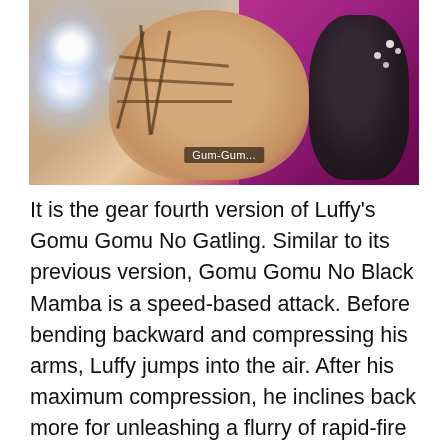[Figure (screenshot): Anime screenshot showing two characters fighting — one with pinkish/tan skin and ropes on their body, another with dark/black appearance and purple background. Subtitle text 'Gum-Gum...' visible at bottom center of image.]
It is the gear fourth version of Luffy's Gomu Gomu No Gatling. Similar to its previous version, Gomu Gomu No Black Mamba is a speed-based attack. Before bending backward and compressing his arms, Luffy jumps into the air. After his maximum compression, he inclines back more for unleashing a flurry of rapid-fire attacks. When Luffy uses this attack for the very first time, Katakuri struggles to guess from where the attack would come. Then, Katakuri uses his observation Haki that allows him to see the future for escaping from his attacks. The attacks appear somewhat casual while combing the